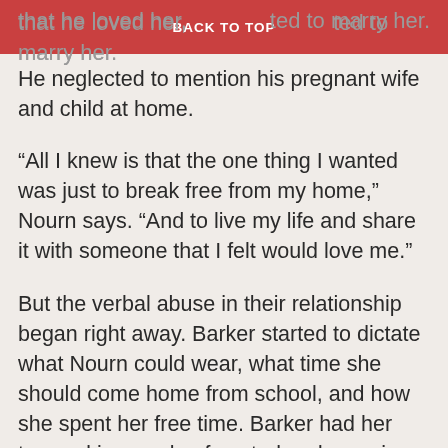that he loved her, BACK TO TOP ted to marry her.
He neglected to mention his pregnant wife and child at home.
“All I knew is that the one thing I wanted was just to break free from my home,” Nourn says. “And to live my life and share it with someone that I felt would love me.”
But the verbal abuse in their relationship began right away. Barker started to dictate what Nourn could wear, what time she should come home from school, and how she spent her free time. Barker had her trapped in a cycle of control and coercion, submission and compliance.